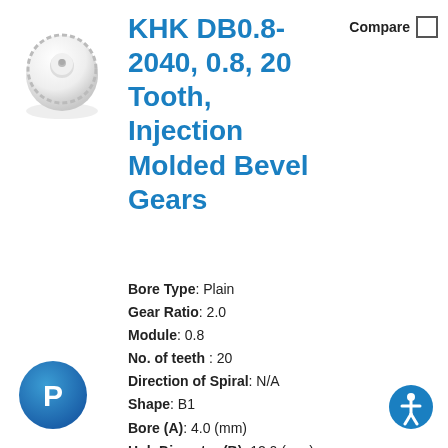[Figure (photo): White injection molded bevel gear product image, top view showing disc-shaped gear with teeth around edge, shown from above and slightly angled.]
KHK DB0.8-2040, 0.8, 20 Tooth, Injection Molded Bevel Gears
Compare
Bore Type: Plain
Gear Ratio: 2.0
Module: 0.8
No. of teeth : 20
Direction of Spiral: N/A
Shape: B1
Bore (A): 4.0 (mm)
Hub Diameter (B): 12.0 (mm)
Pitch Diameter (C): 16.00 (mm)
[Figure (logo): PayPal circular blue button with white P logo]
[Figure (logo): Blue accessibility icon circle with white wheelchair/person symbol]